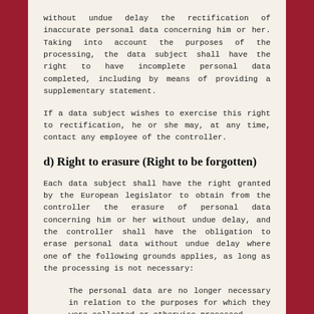without undue delay the rectification of inaccurate personal data concerning him or her. Taking into account the purposes of the processing, the data subject shall have the right to have incomplete personal data completed, including by means of providing a supplementary statement.
If a data subject wishes to exercise this right to rectification, he or she may, at any time, contact any employee of the controller.
d) Right to erasure (Right to be forgotten)
Each data subject shall have the right granted by the European legislator to obtain from the controller the erasure of personal data concerning him or her without undue delay, and the controller shall have the obligation to erase personal data without undue delay where one of the following grounds applies, as long as the processing is not necessary:
The personal data are no longer necessary in relation to the purposes for which they were collected or otherwise processed.